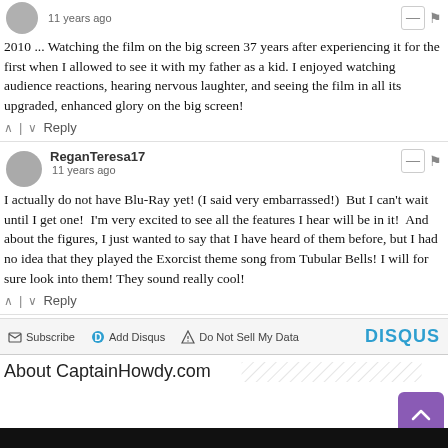11 years ago
2010 ... Watching the film on the big screen 37 years after experiencing it for the first when I allowed to see it with my father as a kid. I enjoyed watching audience reactions, hearing nervous laughter, and seeing the film in all its upgraded, enhanced glory on the big screen!
Reply
ReganTeresa17
11 years ago
I actually do not have Blu-Ray yet! (I said very embarrassed!)  But I can't wait until I get one!  I'm very excited to see all the features I hear will be in it!  And about the figures, I just wanted to say that I have heard of them before, but I had no idea that they played the Exorcist theme song from Tubular Bells! I will for sure look into them! They sound really cool!
Reply
Subscribe | Add Disqus | Do Not Sell My Data | DISQUS
About CaptainHowdy.com